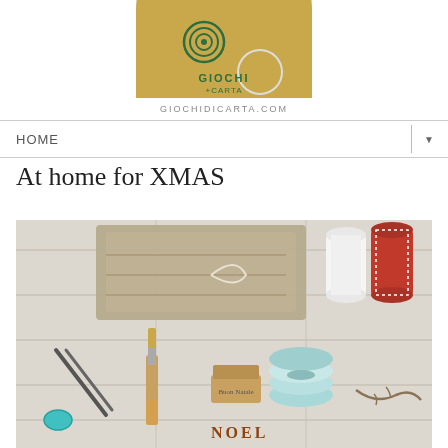[Figure (logo): Giochi di Carta logo — golden semicircle with green spiral and text GIOCHI+CARTA, giochidicarta.com below]
HOME
At home for XMAS
[Figure (photo): Flat lay photo of Christmas craft supplies on white wooden surface: folded burlap/linen fabric with a string loop, two spools of thread (white and red-white twine), scissors, a paint brush, a small rubber stamp, washi tape rolls, decorative letters spelling NOEL, and a twig.]